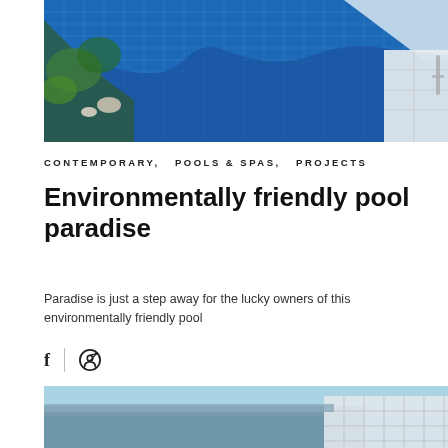[Figure (photo): Aerial view of a blue tiled swimming pool with mosaic grid pattern, surrounded by landscaping with tropical plants and rocks on the left, and white stone paving on the right]
CONTEMPORARY,  POOLS & SPAS,  PROJECTS
Environmentally friendly pool paradise
Paradise is just a step away for the lucky owners of this environmentally friendly pool
[Figure (photo): Bottom partial photo showing a building exterior with decorative white fence/screen and blue sky]